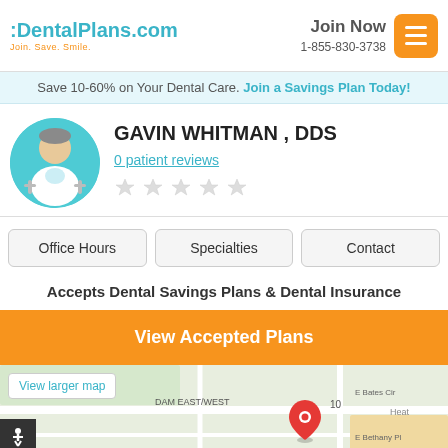DentalPlans.com — Join. Save. Smile. | Join Now 1-855-830-3738
Save 10-60% on Your Dental Care. Join a Savings Plan Today!
GAVIN WHITMAN , DDS
0 patient reviews
Office Hours | Specialties | Contact
Accepts Dental Savings Plans & Dental Insurance
View Accepted Plans
[Figure (map): Google Maps showing location near DAM EAST/WEST area with a red map pin marker, E Bates Cir and E Bethany Pl labels visible, with a 'View larger map' button overlay]